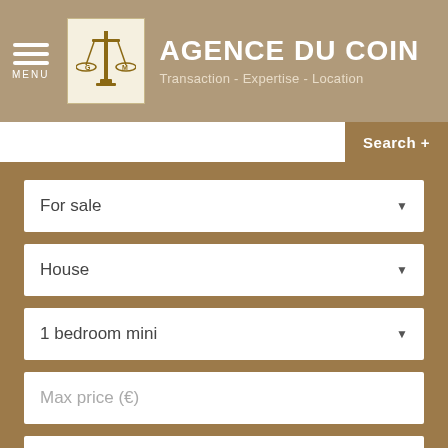[Figure (logo): Agence du Coin logo with scales of justice emblem]
AGENCE DU COIN
Transaction - Expertise - Location
For sale
House
1 bedroom mini
Max price (€)
Cities
SEARCH
We use cookies to enhance your experience. by continuing to browse this site you accept our use of cookies. Learn more